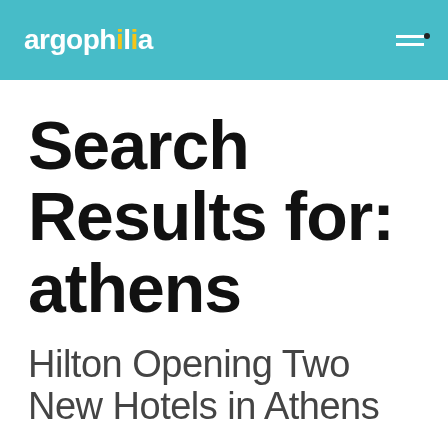argophilia
Search Results for: athens
Hilton Opening Two New Hotels in Athens